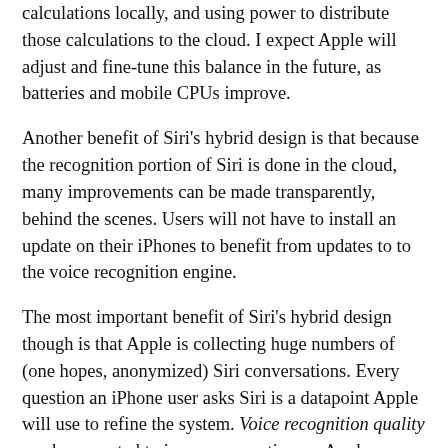calculations locally, and using power to distribute those calculations to the cloud. I expect Apple will adjust and fine-tune this balance in the future, as batteries and mobile CPUs improve.
Another benefit of Siri's hybrid design is that because the recognition portion of Siri is done in the cloud, many improvements can be made transparently, behind the scenes. Users will not have to install an update on their iPhones to benefit from updates to to the voice recognition engine.
The most important benefit of Siri's hybrid design though is that Apple is collecting huge numbers of (one hopes, anonymized) Siri conversations. Every question an iPhone user asks Siri is a datapoint Apple will use to refine the system. Voice recognition quality can be expected to improve over time as Apple collects and analyzes millions of voice samples. Even more importantly though, Apple is amassing a wealth of information about what users are asking Siri. When Siri gets the same type of request from thousands of users, this is a clear indication that this is something users want Siri to be able to do. Popular requests